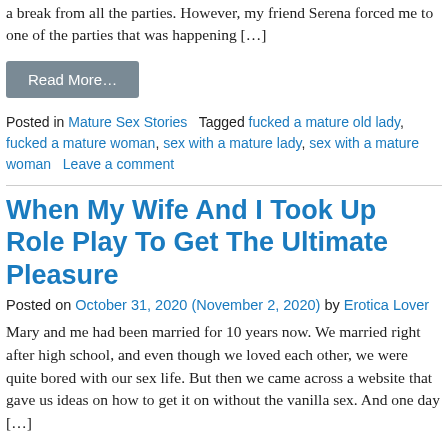a break from all the parties. However, my friend Serena forced me to one of the parties that was happening […]
Read More…
Posted in Mature Sex Stories   Tagged fucked a mature old lady, fucked a mature woman, sex with a mature lady, sex with a mature woman   Leave a comment
When My Wife And I Took Up Role Play To Get The Ultimate Pleasure
Posted on October 31, 2020 (November 2, 2020) by Erotica Lover
Mary and me had been married for 10 years now. We married right after high school, and even though we loved each other, we were quite bored with our sex life. But then we came across a website that gave us ideas on how to get it on without the vanilla sex. And one day […]
Read More…